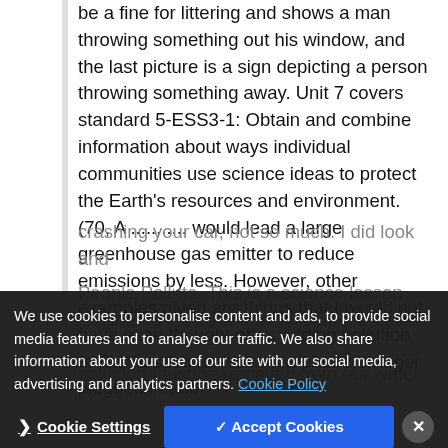be a fine for littering and shows a man throwing something out his window, and the last picture is a sign depicting a person throwing something away. Unit 7 covers standard 5-ESS3-1: Obtain and combine information about ways individual communities use science ideas to protect the Earth's resources and environment. (70, A ........... would lead a large greenhouse gas emitter to reduce emissions by less. However, other examples given are things that I would not have even thought of as adding pollution to Earth, such as leaving a phone charger plugged in and
People Pollute. This is a science lesson for grades third through five...
pollution must be removed from our water
We use cookies to personalise content and ads, to provide social media features and to analyse our traffic. We also share information about your use of our site with our social media, advertising and analytics partners. Cookie Policy